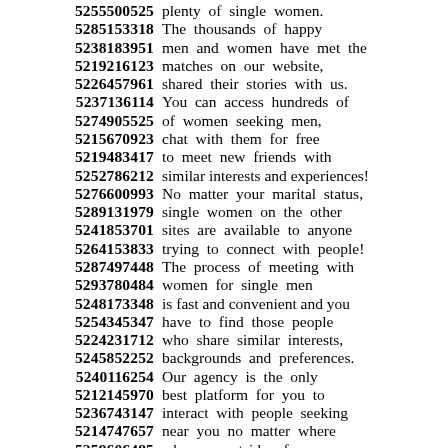5255500525 plenty of single women. 5285153318 The thousands of happy 5238183951 men and women have met the 5219216123 matches on our website, 5226457961 shared their stories with us. 5237136114 You can access hundreds of 5274905525 of women seeking men, 5215670923 chat with them for free 5219483417 to meet new friends with 5252786212 similar interests and experiences! 5276600993 No matter your marital status, 5289131979 single women on the other 5241853701 sites are available to anyone 5264153833 trying to connect with people! 5287497448 The process of meeting with 5293780484 women for single men 5248173348 is fast and convenient and you 5254345347 have to find those people 5224231712 who share similar interests, 5245852252 backgrounds and preferences. 5240116254 Our agency is the only 5212145970 best platform for you to 5236743147 interact with people seeking 5214747657 near you no matter where 5259606485 who are outside of your 5263196757 social circle of friends.